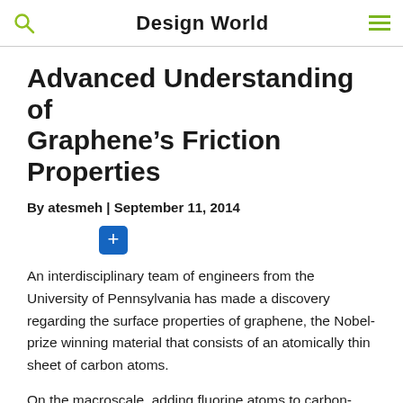Design World
Advanced Understanding of Graphene’s Friction Properties
By atesmeh | September 11, 2014
[Figure (other): Blue plus button / share or expand icon]
An interdisciplinary team of engineers from the University of Pennsylvania has made a discovery regarding the surface properties of graphene, the Nobel-prize winning material that consists of an atomically thin sheet of carbon atoms.
On the macroscale, adding fluorine atoms to carbon-based materials makes for water-repellant, non-stick surfaces, such as